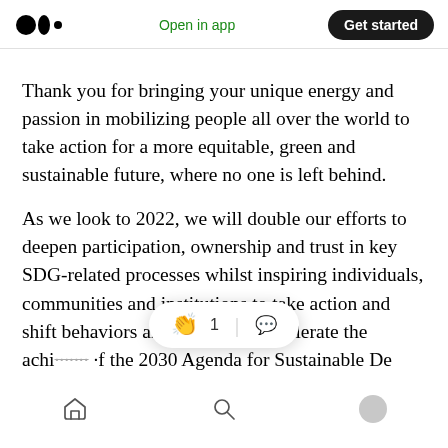Medium app header with logo, 'Open in app' link, and 'Get started' button
Thank you for bringing your unique energy and passion in mobilizing people all over the world to take action for a more equitable, green and sustainable future, where no one is left behind.
As we look to 2022, we will double our efforts to deepen participation, ownership and trust in key SDG-related processes whilst inspiring individuals, communities and institutions to take action and shift behaviors and policies to accelerate the achievement of the 2030 Agenda for Sustainable De…
Bottom navigation bar with home, search, and profile icons